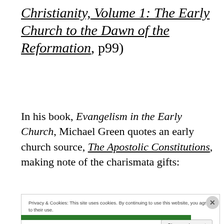Christianity, Volume 1: The Early Church to the Dawn of the Reformation, p99)
In his book, Evangelism in the Early Church, Michael Green quotes an early church source, The Apostolic Constitutions, making note of the charismata gifts:
Privacy & Cookies: This site uses cookies. By continuing to use this website, you agree to their use.
To find out more, including how to control cookies, see here: Cookie Policy
Close and accept